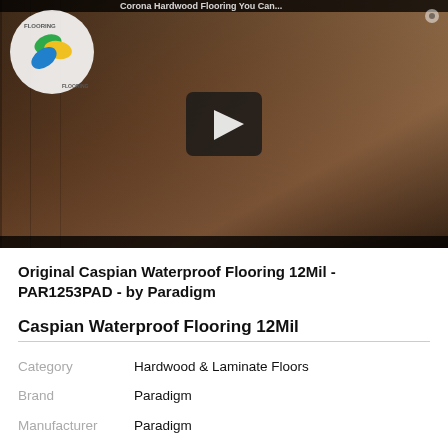[Figure (screenshot): Video thumbnail showing a woman with a child touching wood flooring panels, with a Corona Hardwood Flooring logo in top-left corner and a play button in the center. Title text partially visible at top reads 'Corona Hardwood Flooring You Can...']
Original Caspian Waterproof Flooring 12Mil - PAR1253PAD - by Paradigm
Caspian Waterproof Flooring 12Mil
| Category | Hardwood & Laminate Floors |
| Brand | Paradigm |
| Manufacturer | Paradigm |
| Collection | Original Collection |